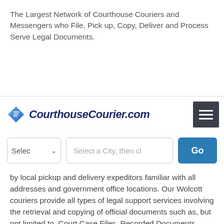The Largest Network of Courthouse Couriers and Messengers who File, Pick up, Copy, Deliver and Process Serve Legal Documents.
[Figure (logo): CourthouseCourier.com logo with a blue diamond/document icon and bold italic dark blue text, plus a dark hamburger menu button]
[Figure (screenshot): Search bar UI with a dropdown selector showing 'Selec', a text input placeholder 'Select a City, then cl', and a blue 'Go' button]
by local pickup and delivery expeditors familiar with all addresses and government office locations. Our Wolcott couriers provide all types of legal support services involving the retrieval and copying of official documents such as, but not limited to, Court Case Files, Recorded Documents, Property Records,